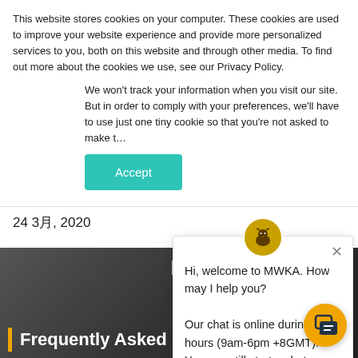This website stores cookies on your computer. These cookies are used to improve your website experience and provide more personalized services to you, both on this website and through other media. To find out more about the cookies we use, see our Privacy Policy.
We won't track your information when you visit our site. But in order to comply with your preferences, we'll have to use just one tiny cookie so that you're not asked to make t…
Accept
24 3月, 2020
[Figure (screenshot): Background image showing mechanical/engine components in dark grey tones with 'M' text visible]
Frequently Asked Questions on
[Figure (screenshot): Chat popup widget from MWKA with logo, close button, and welcome message. Message reads: Hi, welcome to MWKA. How may I help you? Our chat is online during office hours (9am-6pm +8GMT). You can still start a chat outside office hours and our team will reply to you the next working day.]
Hi, welcome to MWKA. How may I help you? Our chat is online during office hours (9am-6pm +8GMT). You can still start a chat outside office hours and our team will reply to you the next working day.